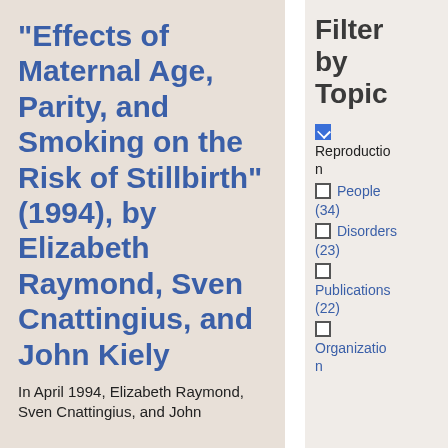“Effects of Maternal Age, Parity, and Smoking on the Risk of Stillbirth” (1994), by Elizabeth Raymond, Sven Cnattingius, and John Kiely
In April 1994, Elizabeth Raymond, Sven Cnattingius, and John
Filter by Topic
Reproduction (checked)
People (34)
Disorders (23)
Publications (22)
Organization